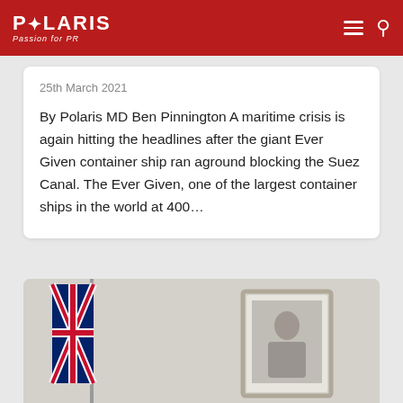POLARIS Passion for PR
25th March 2021
By Polaris MD Ben Pinnington A maritime crisis is again hitting the headlines after the giant Ever Given container ship ran aground blocking the Suez Canal. The Ever Given, one of the largest container ships in the world at 400…
[Figure (photo): Indoor photo showing a UK flag (Union Jack) on a pole in the corner of a room, and a framed portrait on the wall in the background. The room has light grey/beige walls.]